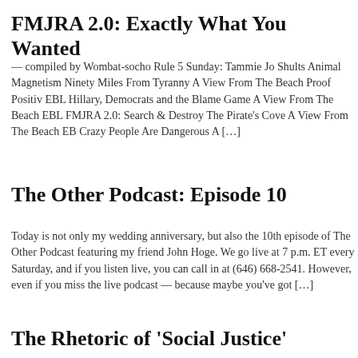FMJRA 2.0: Exactly What You Wanted
— compiled by Wombat-socho Rule 5 Sunday: Tammie Jo Shults Animal Magnetism Ninety Miles From Tyranny A View From The Beach Proof Positive EBL Hillary, Democrats and the Blame Game A View From The Beach EBL FMJRA 2.0: Search & Destroy The Pirate's Cove A View From The Beach EBL Crazy People Are Dangerous A […]
The Other Podcast: Episode 10
Today is not only my wedding anniversary, but also the 10th episode of The Other Podcast featuring my friend John Hoge. We go live at 7 p.m. ET every Saturday, and if you listen live, you can call in at (646) 668-2541. However, even if you miss the live podcast — because maybe you've got […]
The Rhetoric of 'Social Justice'